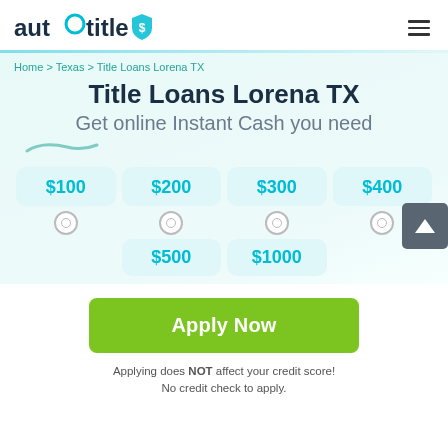[Figure (logo): autoOtitle logo with teal circle O and shield icon]
Home > Texas > Title Loans Lorena TX
Title Loans Lorena TX
Get online Instant Cash you need
$100 | $200 | $300 | $400
$500 | $1000
Apply Now
Applying does NOT affect your credit score! No credit check to apply.